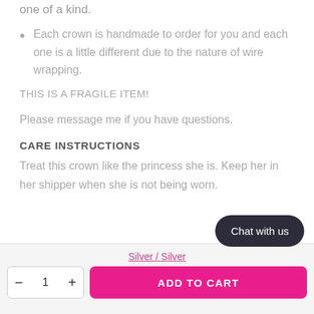one of a kind.
Each crown is handmade to order for you and each one is a little different due to the nature of wire wrapping.
THIS IS A FRAGILE ITEM!
Please message me if you have questions.
CARE INSTRUCTIONS
Treat this crown like the princess she is. Keep her in her shipper when she is not being worn.
Silver / Silver
ADD TO CART
Chat with us